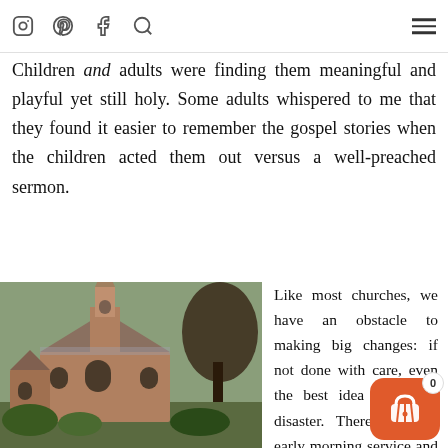Barnabas, but we’d learned over the last year that the congregation looked forward to our children’s service.
Children and adults were finding them meaningful and playful yet still holy. Some adults whispered to me that they found it easier to remember the gospel stories when the children acted them out versus a well-preached sermon.
[Figure (photo): Exterior photograph of a stone Gothic-style church with a tall spire, arched windows, and trees in the background.]
Like most churches, we have an obstacle to making big changes: if not done with care, even the best idea can be a disaster. There was the early morning service and loved breakfast, and also